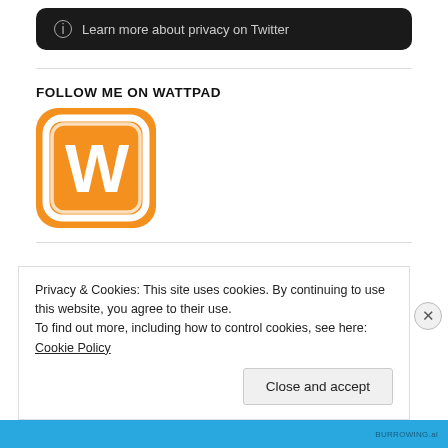[Figure (screenshot): Twitter privacy info banner on dark background with info icon and text 'Learn more about privacy on Twitter']
FOLLOW ME ON WATTPAD
[Figure (logo): Wattpad orange rounded square logo with white W letter]
Privacy & Cookies: This site uses cookies. By continuing to use this website, you agree to their use. To find out more, including how to control cookies, see here: Cookie Policy
Close and accept